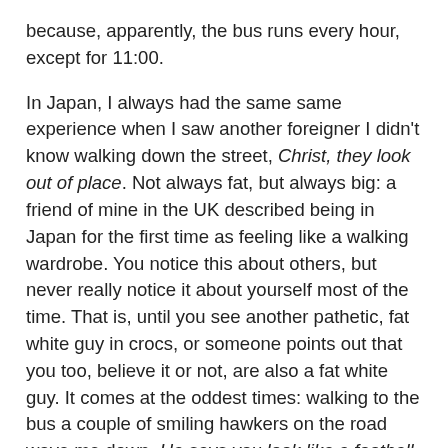because, apparently, the bus runs every hour, except for 11:00.
In Japan, I always had the same same experience when I saw another foreigner I didn't know walking down the street, Christ, they look out of place. Not always fat, but always big: a friend of mine in the UK described being in Japan for the first time as feeling like a walking wardrobe. You notice this about others, but never really notice it about yourself most of the time. That is, until you see another pathetic, fat white guy in crocs, or someone points out that you too, believe it or not, are also a fat white guy. It comes at the oddest times: walking to the bus a couple of smiling hawkers on the road wave me down, He says you look like a football player. Immediately, I wondered: The Fridge or Cristiano Ronaldo? I trudged on, smiling as politely as I could, but feeling heavy and foreign and awkward.
Still, piece by piece. My name cards came today; Dr Stephen Pihlaja printed unironically under the Nottingham logo. The sofa comes on Thursday, but I think until we have a shelf in the bathroom to put our things, life here will feel